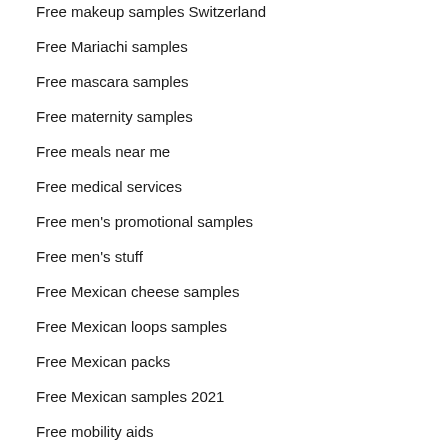Free makeup samples Switzerland
Free Mariachi samples
Free mascara samples
Free maternity samples
Free meals near me
Free medical services
Free men's promotional samples
Free men's stuff
Free Mexican cheese samples
Free Mexican loops samples
Free Mexican packs
Free Mexican samples 2021
Free mobility aids